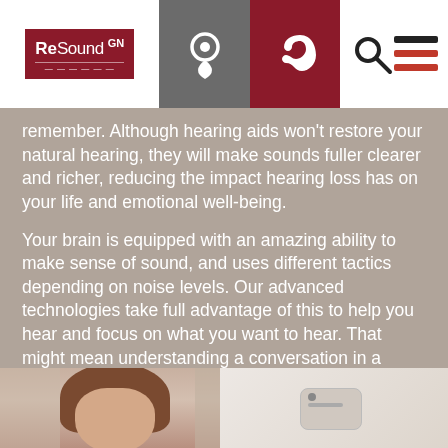[Figure (logo): ReSound GN logo in red box with navigation icons including location pin, ear icon, search, and menu]
remember. Although hearing aids won't restore your natural hearing, they will make sounds fuller clearer and richer, reducing the impact hearing loss has on your life and emotional well-being.
Your brain is equipped with an amazing ability to make sense of sound, and uses different tactics depending on noise levels. Our advanced technologies take full advantage of this to help you hear and focus on what you want to hear. That might mean understanding a conversation in a noisy restaurant, being able to focus on the speaker in a large meeting room, or hear your grandchildren call your name.
[Figure (photo): Bottom strip showing partial photo of a person and a hearing aid device on right side]